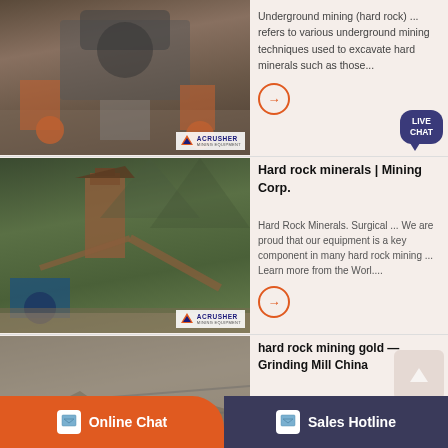[Figure (photo): Mining crushing equipment with orange machinery on gravel, with ACRUSHER mining equipment logo overlay]
Underground mining (hard rock) ... refers to various underground mining techniques used to excavate hard minerals such as those...
[Figure (photo): Large industrial mining processing plant with conveyor systems along a river with mountains, ACRUSHER mining equipment logo overlay]
Hard rock minerals | Mining Corp.
Hard Rock Minerals. Surgical ... We are proud that our equipment is a key component in many hard rock mining ... Learn more from the Worl....
[Figure (photo): Open pit hard rock gold mining site with excavated rocky terrain, ACRUSHER mining equipment logo overlay]
hard rock mining gold — Grinding Mill China
Hard rock gold mining returns to California – National Gold. millsuppliers. Shanghai short /contact/ is an internationally renowned...
Online Chat
Sales Hotline